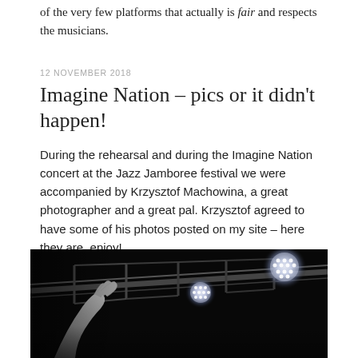of the very few platforms that actually is fair and respects the musicians.
12 NOVEMBER 2018
Imagine Nation – pics or it didn't happen!
During the rehearsal and during the Imagine Nation concert at the Jazz Jamboree festival we were accompanied by Krzysztof Machowina, a great photographer and a great pal. Krzysztof agreed to have some of his photos posted on my site – here they are, enjoy!
[Figure (photo): Black and white concert photo showing a performer's arm/hand raised under stage lighting rigs with bright LED stage lights visible against a dark background.]